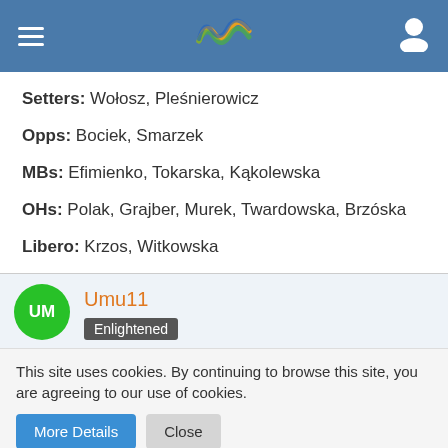Navigation header with logo and user icon
Setters: Wołosz, Pleśnierowicz
Opps: Bociek, Smarzek
MBs: Efimienko, Tokarska, Kąkolewska
OHs: Polak, Grajber, Murek, Twardowska, Brzóska
Libero: Krzos, Witkowska
Umu11 Enlightened
This site uses cookies. By continuing to browse this site, you are agreeing to our use of cookies.